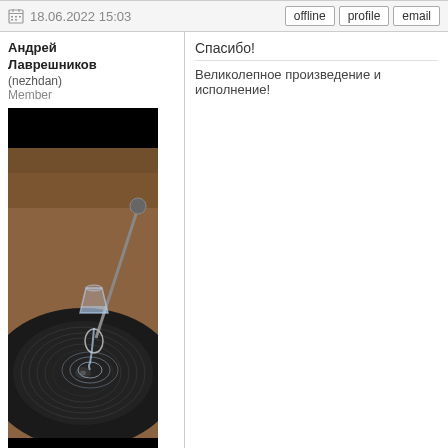18.06.2022 15:03  offline  profile  email
Андрей Лаврешников
(nezhdan)
Member
[Figure (photo): User avatar photo showing a vinyl record player with a glass of water being poured onto the spinning record, creating ripples. Dark record player body, wooden background.]
Спасибо!
Великолепное произведение и исполнение!
21.06.2022 08:15  offline  profile  email
About this site • Terms of Use • Privacy Statement • Links • Contact Us • Guestbook